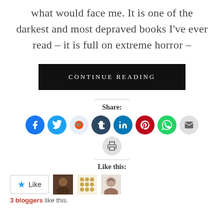what would face me. It is one of the darkest and most depraved books I've ever read – it is full on extreme horror –
CONTINUE READING
Share:
[Figure (infographic): Row of social media share icons: Facebook (blue), Twitter (cyan), Reddit (light blue), Tumblr (dark navy), LinkedIn (teal), Pinterest (red), WhatsApp (green), Email (gray), and a print icon (gray) on a second row]
Like this:
3 bloggers like this.